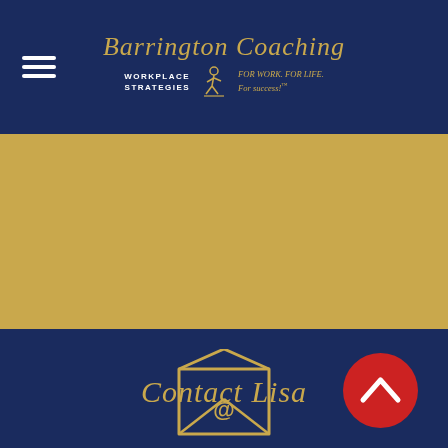Barrington Coaching — WORKPLACE STRATEGIES | FOR WORK. FOR LIFE. For success!™
[Figure (illustration): Gold/tan colored banner strip across the middle of the page]
Contact Lisa
[Figure (illustration): Red circular scroll-to-top button with upward chevron arrow]
[Figure (illustration): Email envelope icon with @ symbol, drawn in gold outline on navy background]